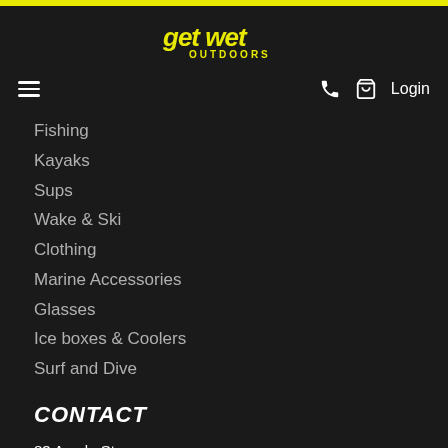[Figure (logo): Get Wet Outdoors logo in yellow italic text on black background]
Fishing
Kayaks
Sups
Wake & Ski
Clothing
Marine Accessories
Glasses
Ice boxes & Coolers
Surf and Dive
CONTACT
83 Argyle St,
Traralgon VIC 3844